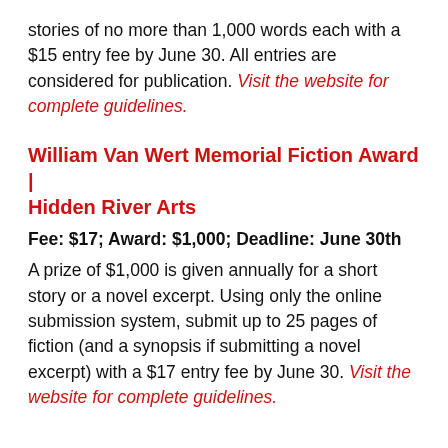stories of no more than 1,000 words each with a $15 entry fee by June 30. All entries are considered for publication. Visit the website for complete guidelines.
William Van Wert Memorial Fiction Award | Hidden River Arts
Fee: $17; Award: $1,000; Deadline: June 30th
A prize of $1,000 is given annually for a short story or a novel excerpt. Using only the online submission system, submit up to 25 pages of fiction (and a synopsis if submitting a novel excerpt) with a $17 entry fee by June 30. Visit the website for complete guidelines.